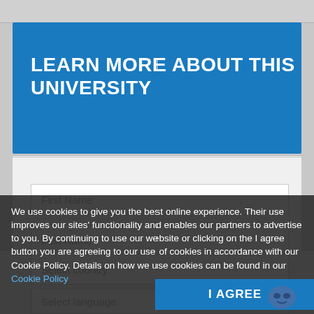LEARN MORE ABOUT THIS UNIVERSITY
[Figure (other): Blue downward arrow icon below the header]
First Name
Last Name
Email
Select country
Select language
We use cookies to give you the best online experience. Their use improves our sites' functionality and enables our partners to advertise to you. By continuing to use our website or clicking on the I agree button you are agreeing to our use of cookies in accordance with our Cookie Policy. Details on how we use cookies can be found in our Cookie Policy
I AGREE